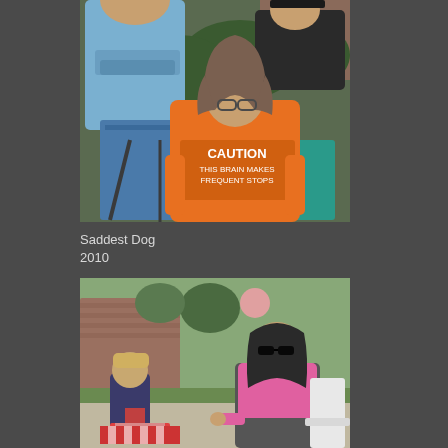[Figure (photo): Outdoor gathering scene. A woman in an orange t-shirt reading 'CAUTION THIS BRAIN MAKES FREQUENT STOPS' sits in a folding chair. A man in a blue shirt stands with arms crossed to the left. Another man in a black shirt sits behind. Blue folding chairs visible in background with green bushes.]
Saddest Dog
2010
[Figure (photo): Outdoor scene with a young child and a woman wearing sunglasses, a pink top and dark shorts sitting in a chair. Red and white checked tablecloth visible. Brick building and trees in background.]